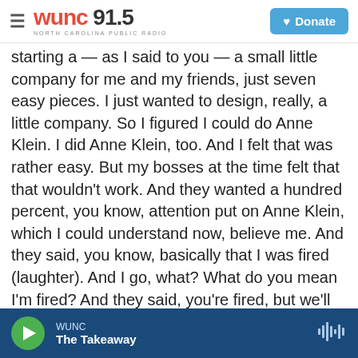WUNC 91.5 North Carolina Public Radio | Donate
starting a — as I said to you — a small little company for me and my friends, just seven easy pieces. I just wanted to design, really, a little company. So I figured I could do Anne Klein. I did Anne Klein, too. And I felt that was rather easy. But my bosses at the time felt that that wouldn't work. And they wanted a hundred percent, you know, attention put on Anne Klein, which I could understand now, believe me. And they said, you know, basically that I was fired (laughter). And I go, what? What do you mean I'm fired? And they said, you're fired, but we'll put you into business. And you could do Donna Karan. And I was kind of shocked by the whole
WUNC | The Takeaway